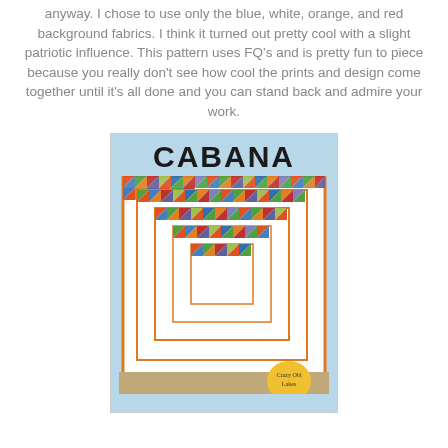anyway. I chose to use only the blue, white, orange, and red background fabrics. I think it turned out pretty cool with a slight patriotic influence. This pattern uses FQ's and is pretty fun to piece because you really don't see how cool the prints and design come together until it's all done and you can stand back and admire your work.
[Figure (illustration): Cover of the 'Cabana' quilt pattern by Crazy Old Ladies, showing a colorful quilt made of triangles in various colors arranged in concentric rings against a light blue sky background.]